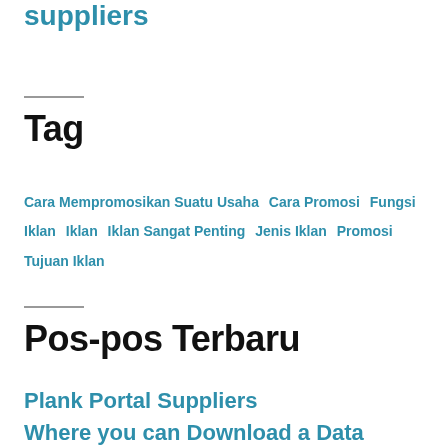suppliers
Tag
Cara Mempromosikan Suatu Usaha  Cara Promosi  Fungsi Iklan  Iklan  Iklan Sangat Penting  Jenis Iklan  Promosi  Tujuan Iklan
Pos-pos Terbaru
Plank Portal Suppliers
Where you can Download a Data